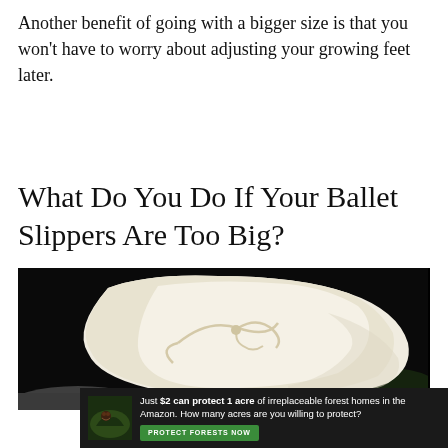Another benefit of going with a bigger size is that you won't have to worry about adjusting your growing feet later.
What Do You Do If Your Ballet Slippers Are Too Big?
[Figure (photo): Close-up photo of a white/cream ballet slipper being held against a dark background, showing the drawstring tie at the toe.]
[Figure (infographic): Advertisement banner: forest with animals image on left, text reading 'Just $2 can protect 1 acre of irreplaceable forest homes in the Amazon. How many acres are you willing to protect?' with a green 'PROTECT FORESTS NOW' button.]